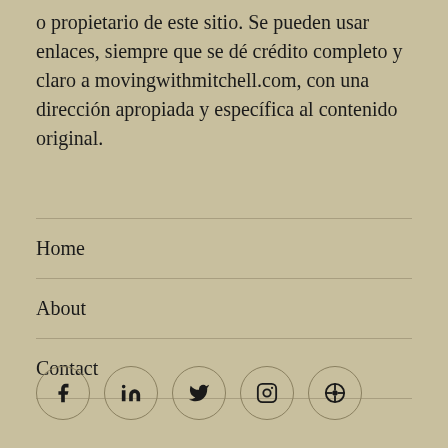o propietario de este sitio. Se pueden usar enlaces, siempre que se dé crédito completo y claro a movingwithmitchell.com, con una dirección apropiada y específica al contenido original.
Home
About
Contact
[Figure (other): Row of five social media icon buttons (Facebook, LinkedIn, Twitter, Instagram, and a feed/circle-dot icon), each in a circular outlined button.]